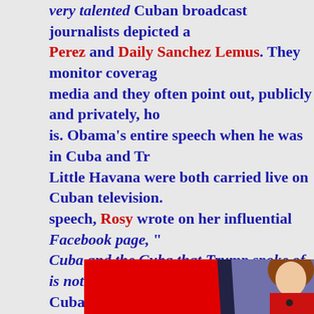very talented Cuban broadcast journalists depicted a... Perez and Daily Sanchez Lemus. They monitor coverage media and they often point out, publicly and privately, ho is. Obama's entire speech when he was in Cuba and Tr Little Havana were both carried live on Cuban television. speech, Rosy wrote on her influential Facebook page, " Cuba and the Cuba that Trump spoke of is not the Cuba th Cuba that other Cuba-loving Cubans have known all their l
[Figure (photo): A woman with auburn/red hair wearing a red top, sitting at what appears to be a news desk or broadcast set. The background shows red and purple colors. She appears to be speaking.]